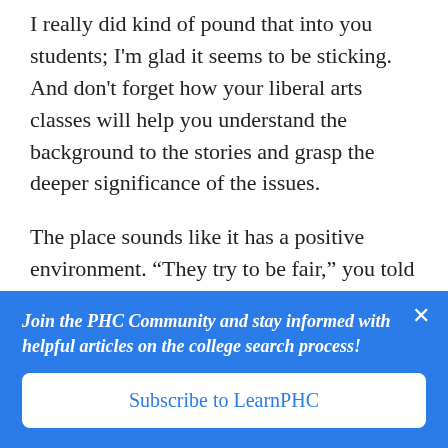news stories as narratives.
I really did kind of pound that into you students; I'm glad it seems to be sticking. And don't forget how your liberal arts classes will help you understand the background to the stories and grasp the deeper significance of the issues.
The place sounds like it has a positive environment. “They try to be fair,” you told me,
Join the PHC Community and stay informed with helpful articles on the college search process!
Subscribe to LearnPHC